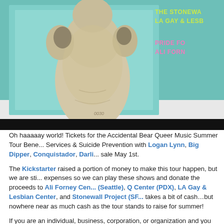[Figure (photo): A ceramic or stone sculpture of a torso/abstract figure against a teal/mint green background, with partial text overlay on the right side showing 'THE STONEWA', 'LA GAY & LESB', 'PRIDE FO', 'ALI FORN' in yellow-green and pink bold letters.]
Oh haaaaay world! Tickets for the Accidental Bear Queer Music Summer Tour Bene... Services & Suicide Prevention with Logan Lynn, Big Dipper, Conquistador, Darli... sale May 1st.
The Kickstarter raised a portion of money to make this tour happen, but we are sti... expenses so we can play these shows and donate the proceeds to Ali Forney Cen... (Seattle), Q Center (PDX), LA Gay & Lesbian Center, and Stonewall Project (SF... takes a bit of cash…but nowhere near as much cash as the tour stands to raise for summer!
If you are an individual, business, corporation, or organization and you are intereste... LGBTQ community, a great way to do that is to become a sponsor of this tour! Cli...